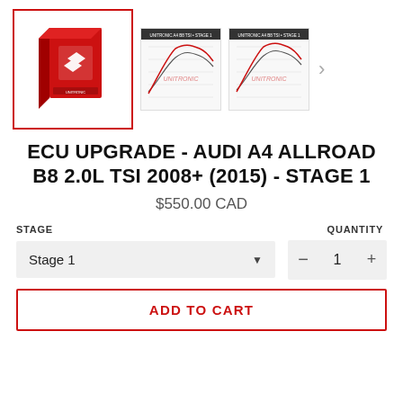[Figure (photo): Product images gallery: main image shows red Unitronic software box with logo, two smaller thumbnail images show dyno/performance charts labeled Unitronic, with a right navigation arrow.]
ECU UPGRADE - AUDI A4 ALLROAD B8 2.0L TSI 2008+ (2015) - STAGE 1
$550.00 CAD
STAGE
QUANTITY
Stage 1
1
ADD TO CART